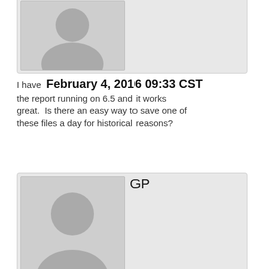[Figure (other): User avatar placeholder (top, partially cropped)]
I have  February 4, 2016 09:33 CST
the report running on 6.5 and it works great.  Is there an easy way to save one of these files a day for historical reasons?
[Figure (other): User avatar placeholder with username GP]
Hi Stan,  February 8, 2016 02:34 CST

Is there way to add the "qfarm /load" details in the above script?
If yes, could you please help me on this.
[Figure (other): User avatar placeholder with username GP (third comment)]